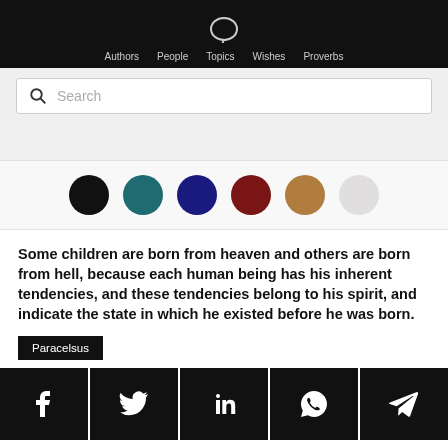Authors  People  Topics  Wishes  Proverbs
[Figure (screenshot): Search bar with magnifying glass icon and placeholder text 'Search']
[Figure (illustration): Six color selection dots: black, teal, navy, dark red, tan/brown, light gray]
Some children are born from heaven and others are born from hell, because each human being has his inherent tendencies, and these tendencies belong to his spirit, and indicate the state in which he existed before he was born.
Paracelsus
[Figure (screenshot): Social sharing icons row: Facebook, Twitter, LinkedIn, WhatsApp, Telegram — white icons on black backgrounds]